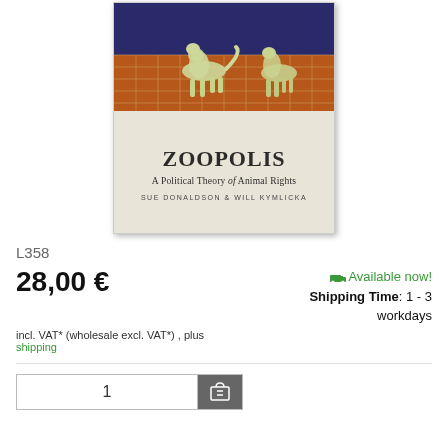[Figure (photo): Book cover of 'Zoopolis: A Political Theory of Animal Rights' by Sue Donaldson & Will Kymlicka. Top half shows dogs on a tiled floor with dark blue background. Bottom half shows the title 'ZOOPOLIS', subtitle 'A Political Theory of Animal Rights', and authors 'SUE DONALDSON & WILL KYMLICKA' on a beige/cream background.]
L358
28,00 €
incl. VAT* (wholesale excl. VAT*) , plus shipping
🚚 Available now! Shipping Time: 1 - 3 workdays
1